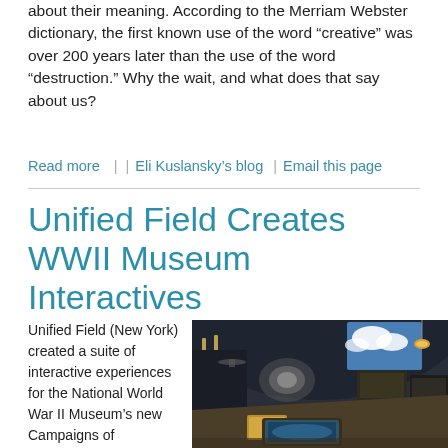about their meaning. According to the Merriam Webster dictionary, the first known use of the word “creative” was over 200 years later than the use of the word “destruction.” Why the wait, and what does that say about us?
Read more  |  | Eli Kuslansky’s blog  | Email this page
Unified Field Creates WWII Museum Interactives
Unified Field (New York) created a suite of interactive experiences for the National World War II Museum’s new Campaigns of
[Figure (photo): Interior of a WWII museum exhibit room with arched ceiling, interactive displays, illuminated exhibit cases, and a large touchscreen table in the foreground.]